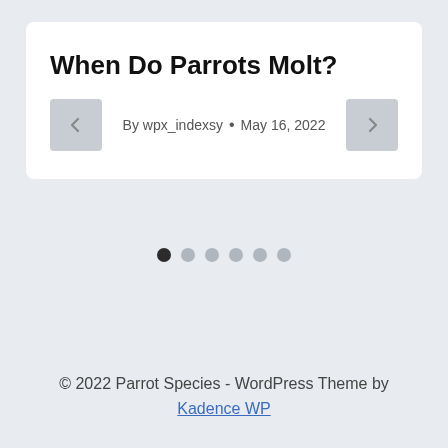When Do Parrots Molt?
By wpx_indexsy • May 16, 2022
[Figure (other): Carousel navigation dots: 1 filled dark dot and 5 lighter dots indicating slide position]
© 2022 Parrot Species - WordPress Theme by Kadence WP